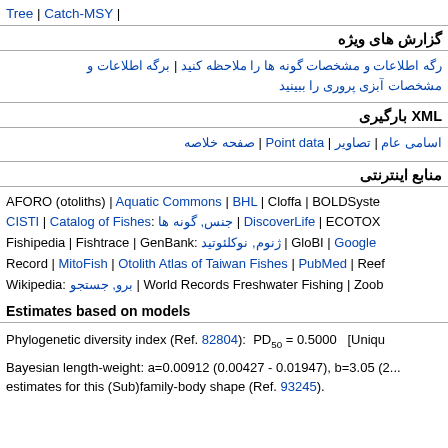Tree | Catch-MSY |
گزارش های ویژه
رگه اطلاعات و مشخصات گونه ها را ملاحظه کنید | برگه اطلاعات و مشخصات آبزی پروری را ببینید
XML بارگیری
اسامی عام | تصاویر | Point data | صفحه خلاصه
منابع اینترنتی
AFORO (otoliths) | Aquatic Commons | BHL | Cloffa | BOLDSyste | CISTI | Catalog of Fishes: جنس, گونه ها | DiscoverLife | ECOTOX | Fishipedia | Fishtrace | GenBank: ژنوم, نوکلئوتید | GloBI | Google | Record | MitoFish | Otolith Atlas of Taiwan Fishes | PubMed | Reef | Wikipedia: برو, جستجو | World Records Freshwater Fishing | Zoob
Estimates based on models
Phylogenetic diversity index (Ref. 82804):  PD50 = 0.5000   [Uniqu
Bayesian length-weight: a=0.00912 (0.00427 - 0.01947), b=3.05 (2... estimates for this (Sub)family-body shape (Ref. 93245).